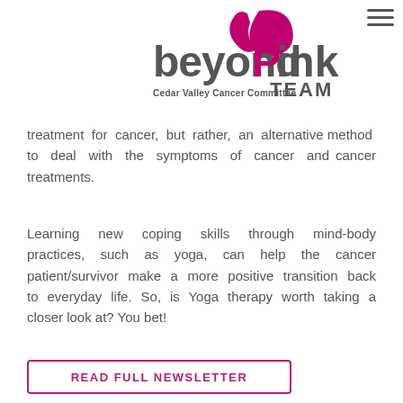[Figure (logo): Beyond Pink Team - Cedar Valley Cancer Committee logo with pink ribbon graphic]
treatment for cancer, but rather, an alternative method to deal with the symptoms of cancer and cancer treatments.
Learning new coping skills through mind-body practices, such as yoga, can help the cancer patient/survivor make a more positive transition back to everyday life. So, is Yoga therapy worth taking a closer look at? You bet!
READ FULL NEWSLETTER